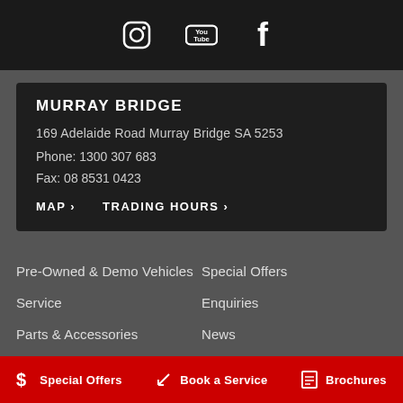Social media links: Instagram, YouTube, Facebook
MURRAY BRIDGE
169 Adelaide Road Murray Bridge SA 5253
Phone: 1300 307 683
Fax: 08 8531 0423
MAP > TRADING HOURS >
Pre-Owned & Demo Vehicles
Service
Parts & Accessories
Special Offers
Enquiries
News
Terms of Use
Special Offers | Book a Service | Brochures